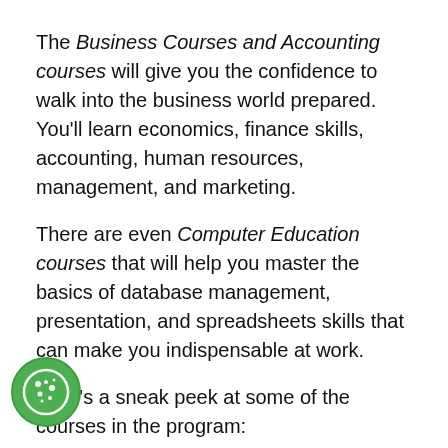The Business Courses and Accounting courses will give you the confidence to walk into the business world prepared. You'll learn economics, finance skills, accounting, human resources, management, and marketing.
There are even Computer Education courses that will help you master the basics of database management, presentation, and spreadsheets skills that can make you indispensable at work.
Here's a sneak peek at some of the courses in the program:
Financial Accounting
Marketing
Finance
Management